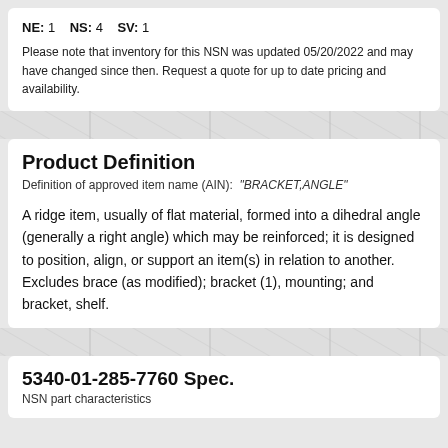NE: 1   NS: 4   SV: 1
Please note that inventory for this NSN was updated 05/20/2022 and may have changed since then. Request a quote for up to date pricing and availability.
Product Definition
Definition of approved item name (AIN): "BRACKET,ANGLE"
A ridge item, usually of flat material, formed into a dihedral angle (generally a right angle) which may be reinforced; it is designed to position, align, or support an item(s) in relation to another. Excludes brace (as modified); bracket (1), mounting; and bracket, shelf.
5340-01-285-7760 Spec.
NSN part characteristics